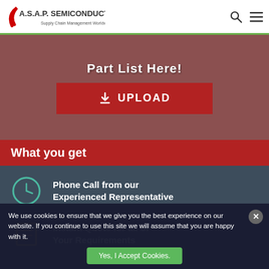A.S.A.P. SEMICONDUCTOR Supply Chain Management Worldwide
[Figure (screenshot): Upload part list section with dark red background showing 'Part List Here!' text and red UPLOAD button with arrow icon]
[Figure (infographic): What you get section with red header and dark blue-grey body showing two items: clock icon with 'Phone Call from our Experienced Representative' and document icon with 'Instant Quote for all of Your Requirements']
We use cookies to ensure that we give you the best experience on our website. If you continue to use this site we will assume that you are happy with it.
Yes, I Accept Cookies.